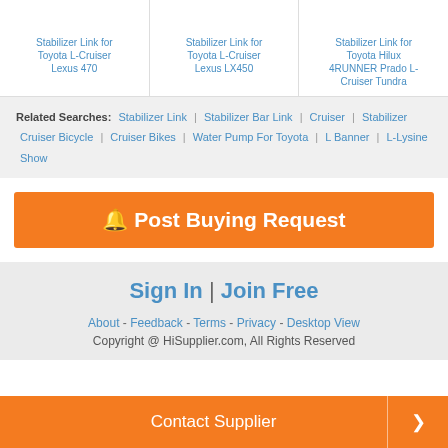Stabilizer Link for Toyota L-Cruiser Lexus 470
Stabilizer Link for Toyota L-Cruiser Lexus LX450
Stabilizer Link for Toyota Hilux 4RUNNER Prado L-Cruiser Tundra
Related Searches: Stabilizer Link | Stabilizer Bar Link | Cruiser | Stabilizer Cruiser Bicycle | Cruiser Bikes | Water Pump For Toyota | L Banner | L-Lysine Show
🔔 Post Buying Request
Sign In | Join Free
About - Feedback - Terms - Privacy - Desktop View
Copyright @ HiSupplier.com, All Rights Reserved
Contact Supplier